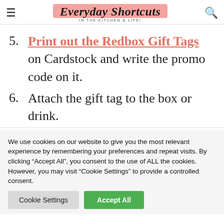Everyday Shortcuts IN THE KITCHEN & LIFE!
5. Print out the Redbox Gift Tags on Cardstock and write the promo code on it.
6. Attach the gift tag to the box or drink.
We use cookies on our website to give you the most relevant experience by remembering your preferences and repeat visits. By clicking "Accept All", you consent to the use of ALL the cookies. However, you may visit "Cookie Settings" to provide a controlled consent.